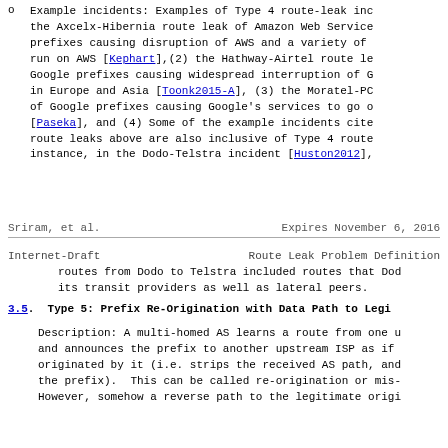Example incidents: Examples of Type 4 route-leak inc the Axcelx-Hibernia route leak of Amazon Web Service prefixes causing disruption of AWS and a variety of run on AWS [Kephart],(2) the Hathway-Airtel route le Google prefixes causing widespread interruption of G in Europe and Asia [Toonk2015-A], (3) the Moratel-PC of Google prefixes causing Google's services to go o [Paseka], and (4) Some of the example incidents cite route leaks above are also inclusive of Type 4 route instance, in the Dodo-Telstra incident [Huston2012],
Sriram, et al.                    Expires November 6, 2016
Internet-Draft           Route Leak Problem Definition
routes from Dodo to Telstra included routes that Dod its transit providers as well as lateral peers.
3.5. Type 5: Prefix Re-Origination with Data Path to Legi
Description: A multi-homed AS learns a route from one u and announces the prefix to another upstream ISP as if originated by it (i.e. strips the received AS path, and the prefix). This can be called re-origination or mis- However, somehow a reverse path to the legitimate origi